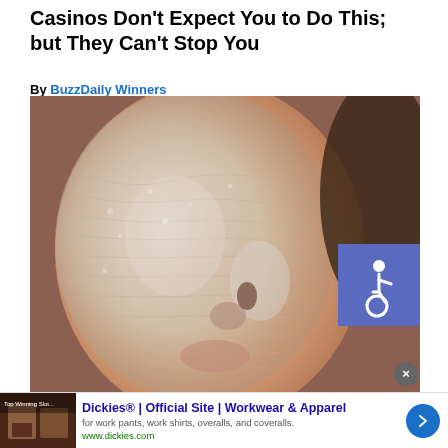Casinos Don't Expect You to Do This; but They Can't Stop You
By BuzzDaily Winners
[Figure (photo): Close-up photo of a person's face with a white/grey cream or mask applied, showing skin texture and wrinkles. An accessibility (wheelchair) icon badge is overlaid in the upper right corner of the image.]
[Figure (infographic): Advertisement bar for Dickies. Shows a small thumbnail image of clothing/furniture, bold title 'Dickies® | Official Site | Workwear & Apparel', description 'for work pants, work shirts, overalls, and coveralls.', URL 'www.dickies.com', and a blue circular arrow button on the right.]